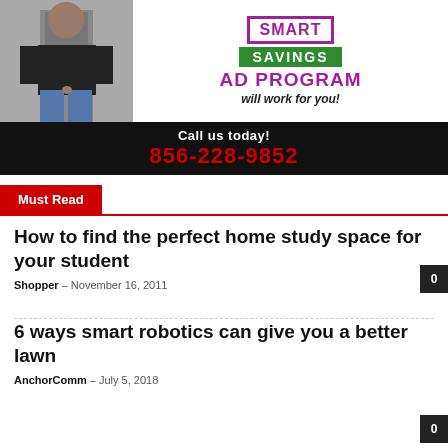[Figure (illustration): Advertisement banner with a person photo on the left, Smart Savings Ad Program text on the right, and a black bar at the bottom with phone number 856-228-9852]
Must Read
How to find the perfect home study space for your student
Shopper - November 16, 2011
6 ways smart robotics can give you a better lawn
AnchorComm - July 5, 2018